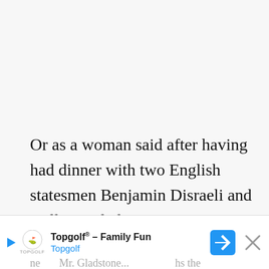Or as a woman said after having had dinner with two English statesmen Benjamin Disraeli and William Gladstone:
“When I left the dining room after sitting ne... Mr. Gladstone... I thought he was the cl... timo”
[Figure (other): Advertisement banner for Topgolf - Family Fun, showing Topgolf logo, navigation arrow icon, and close button]